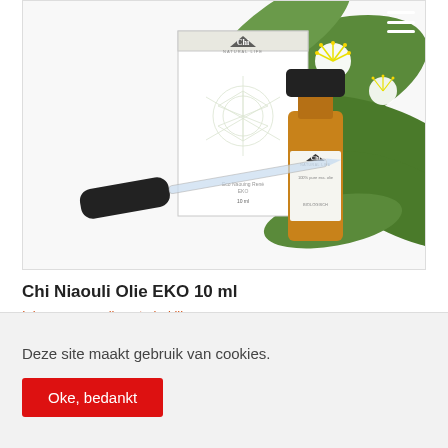[Figure (photo): Chi Niaouli Olie EKO 10 ml product photo showing a small amber glass bottle with dropper, a white box with geometric pattern, and green eucalyptus leaves with white flowers in the background.]
Chi Niaouli Olie EKO 10 ml
Inloggen om prijzen te bekijken
Deze site maakt gebruik van cookies.
Oke, bedankt